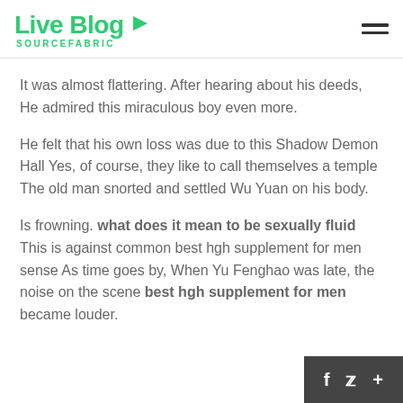Live Blog SOURCEFABRIC
It was almost flattering. After hearing about his deeds, He admired this miraculous boy even more.
He felt that his own loss was due to this Shadow Demon Hall Yes, of course, they like to call themselves a temple The old man snorted and settled Wu Yuan on his body.
Is frowning. what does it mean to be sexually fluid This is against common best hgh supplement for men sense As time goes by, When Yu Fenghao was late, the noise on the scene best hgh supplement for men became louder.
f  •  🐦  •  +